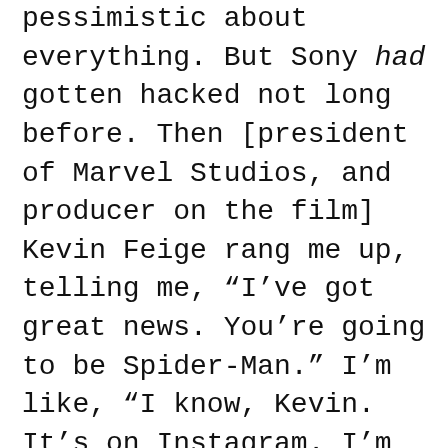pessimistic about everything. But Sony had gotten hacked not long before. Then [president of Marvel Studios, and producer on the film] Kevin Feige rang me up, telling me, “I’ve got great news. You’re going to be Spider-Man.” I’m like, “I know, Kevin. It’s on Instagram. I’m 19. Did you really think I wasn’t going to find it?”
ZENDAYA: Everybody asks me this question: What do you see for yourself? What do you want? Obviously, you’ve done other types of roles that are very different from Peter Parker. Do you